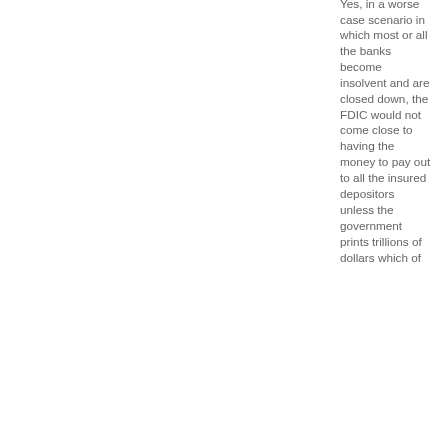Yes, in a worse case scenario in which most or all the banks become insolvent and are closed down, the FDIC would not come close to having the money to pay out to all the insured depositors unless the government prints trillions of dollars which of